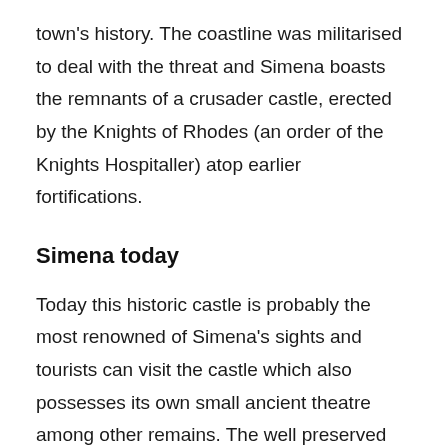town's history. The coastline was militarised to deal with the threat and Simena boasts the remnants of a crusader castle, erected by the Knights of Rhodes (an order of the Knights Hospitaller) atop earlier fortifications.
Simena today
Today this historic castle is probably the most renowned of Simena's sights and tourists can visit the castle which also possesses its own small ancient theatre among other remains. The well preserved ruins also offer great views of the surrounding countryside and the idyllic coastline.
While many of the ruins were submerged when